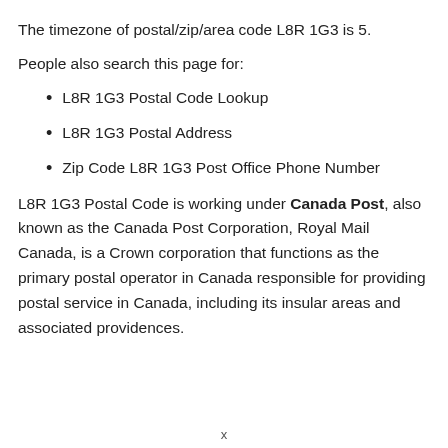The timezone of postal/zip/area code L8R 1G3 is 5.
People also search this page for:
L8R 1G3 Postal Code Lookup
L8R 1G3 Postal Address
Zip Code L8R 1G3 Post Office Phone Number
L8R 1G3 Postal Code is working under Canada Post, also known as the Canada Post Corporation, Royal Mail Canada, is a Crown corporation that functions as the primary postal operator in Canada responsible for providing postal service in Canada, including its insular areas and associated providences.
x